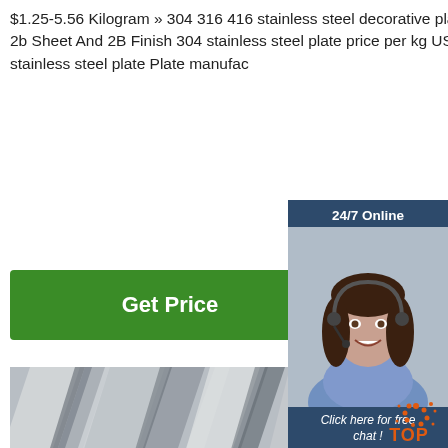$1.25-5.56 Kilogram » 304 316 416 stainless steel decorative plate US $1000-1500 Metric Ton » No.1 2b Sheet And 2B Finish 304 stainless steel plate price per kg US $1.25-5.56Per Kg » Best price stainless steel plate Plate manufac
[Figure (other): Green 'Get Price' button]
[Figure (other): 24/7 online chat widget with female customer service agent photo, 'Click here for free chat!' text, and orange QUOTATION button]
[Figure (photo): Close-up photo of stainless steel plates/sheets stacked diagonally, showing metallic surface texture]
[Figure (logo): Orange circular TOP logo in bottom right corner]